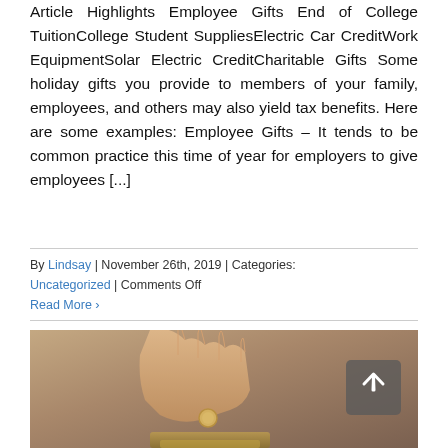Article Highlights Employee Gifts End of College TuitionCollege Student SuppliesElectric Car CreditWork EquipmentSolar Electric CreditCharitable Gifts Some holiday gifts you provide to members of your family, employees, and others may also yield tax benefits. Here are some examples: Employee Gifts – It tends to be common practice this time of year for employers to give employees [...]
By Lindsay | November 26th, 2019 | Categories: Uncategorized | Comments Off
Read More ›
[Figure (photo): A hand dropping a coin into a glass jar, photographed on a gray-brown background.]